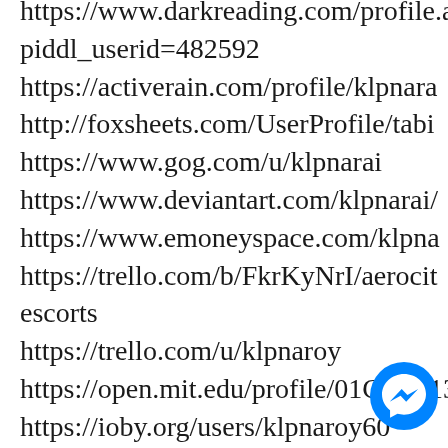https://www.darkreading.com/profile.a
piddl_userid=482592
https://activerain.com/profile/klpnara
http://foxsheets.com/UserProfile/tabi
https://www.gog.com/u/klpnarai
https://www.deviantart.com/klpnarai/
https://www.emoneyspace.com/klpna
https://trello.com/b/FkrKyNrI/aerocit
escorts
https://trello.com/u/klpnaroy
https://open.mit.edu/profile/01G7PE13
https://ioby.org/users/klpnaroy60
http://pub33.bravenet.com/forum/stat